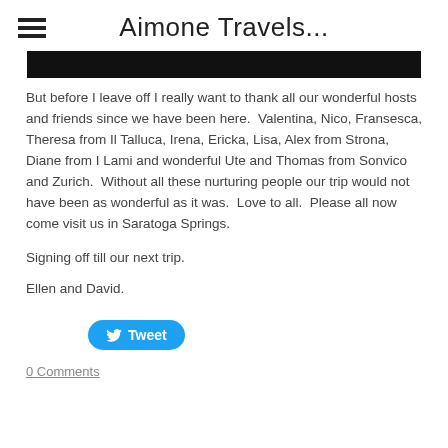Aimone Travels...
[Figure (photo): Dark/black photograph strip at top of content area]
But before I leave off I really want to thank all our wonderful hosts and friends since we have been here.  Valentina, Nico, Fransesca, Theresa from Il Talluca, Irena, Ericka, Lisa, Alex from Strona, Diane from I Lami and wonderful Ute and Thomas from Sonvico and Zurich.  Without all these nurturing people our trip would not have been as wonderful as it was.  Love to all.  Please all now come visit us in Saratoga Springs.
Signing off till our next trip.
Ellen and David.
Tweet
0 Comments